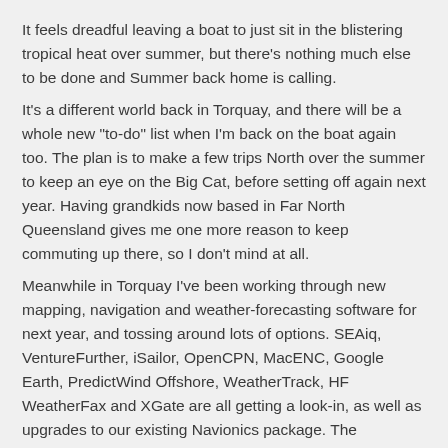It feels dreadful leaving a boat to just sit in the blistering tropical heat over summer, but there's nothing much else to be done and Summer back home is calling.
It's a different world back in Torquay, and there will be a whole new "to-do" list when I'm back on the boat again too. The plan is to make a few trips North over the summer to keep an eye on the Big Cat, before setting off again next year. Having grandkids now based in Far North Queensland gives me one more reason to keep commuting up there, so I don't mind at all.
Meanwhile in Torquay I've been working through new mapping, navigation and weather-forecasting software for next year, and tossing around lots of options. SEAiq, VentureFurther, iSailor, OpenCPN, MacENC, Google Earth, PredictWind Offshore, WeatherTrack, HF WeatherFax and XGate are all getting a look-in, as well as upgrades to our existing Navionics package. The advances in technology are amazing and the potential uses for our iPads, mobile phones and laptops are boundless. Now, where were those paper charts....